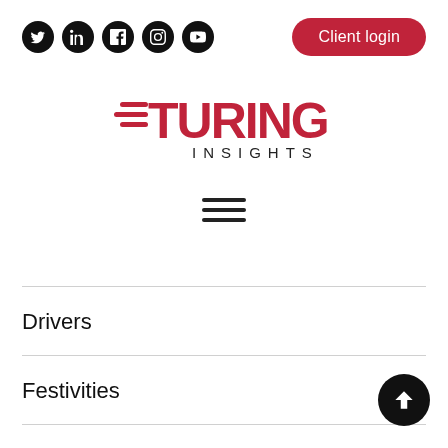[Figure (logo): Social media icons (Twitter, LinkedIn, Facebook, Instagram, YouTube) as white icons on black circles]
[Figure (logo): Client login button with red rounded pill background]
[Figure (logo): Turing Insights logo with red speedlines and text]
[Figure (other): Hamburger menu icon (three horizontal lines)]
Drivers
Festivities
Industry Knowledge
Products
[Figure (other): Back to top button: black circle with upward chevron arrow]